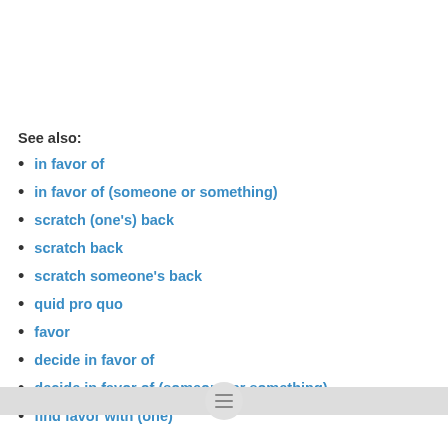See also:
in favor of
in favor of (someone or something)
scratch (one's) back
scratch back
scratch someone's back
quid pro quo
favor
decide in favor of
decide in favor of (someone or something)
find favor with (one)